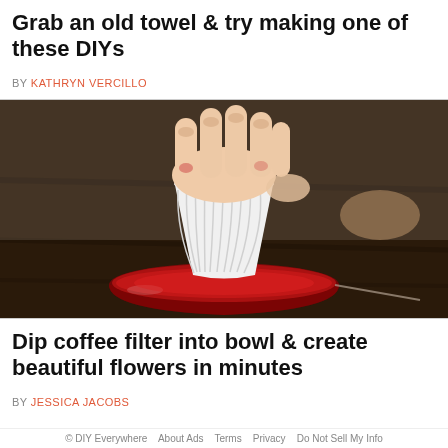Grab an old towel & try making one of these DIYs
BY KATHRYN VERCILLO
[Figure (photo): A hand pressing a white coffee filter into a glass bowl filled with red liquid, placed on a dark wooden surface.]
Dip coffee filter into bowl & create beautiful flowers in minutes
BY JESSICA JACOBS
© DIY Everywhere   About Ads   Terms   Privacy   Do Not Sell My Info